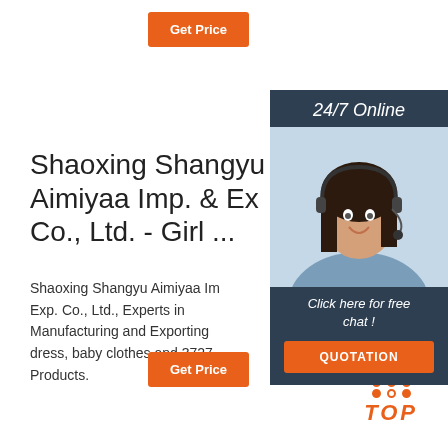Get Price
Shaoxing Shangyu Aimiyaa Imp. & Ex Co., Ltd. - Girl ...
Shaoxing Shangyu Aimiyaa Imp. & Exp. Co., Ltd., Experts in Manufacturing and Exporting dress, baby clothes and 3727 Products.
[Figure (photo): Customer service representative with headset, 24/7 Online chat widget with QUOTATION button]
Get Price
[Figure (other): TOP icon with orange dots arranged in triangle and orange italic TOP text]